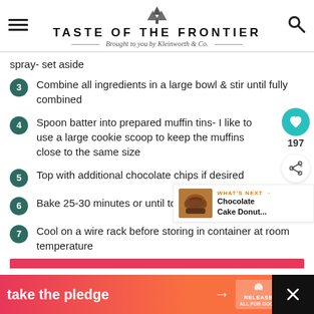TASTE OF THE FRONTIER — Brought to you by Kleinworth & Co.
spray- set aside
3 — Combine all ingredients in a large bowl & stir until fully combined
4 — Spoon batter into prepared muffin tins- I like to use a large cookie scoop to keep the muffins close to the same size
5 — Top with additional chocolate chips if desired
6 — Bake 25-30 minutes or until toothpick test is clean
7 — Cool on a wire rack before storing in container at room temperature
[Figure (screenshot): WHAT'S NEXT arrow — Chocolate Cake Donut... thumbnail with muffin image]
[Figure (infographic): Ad banner: take the pledge arrow RELEASE badge, close X button]